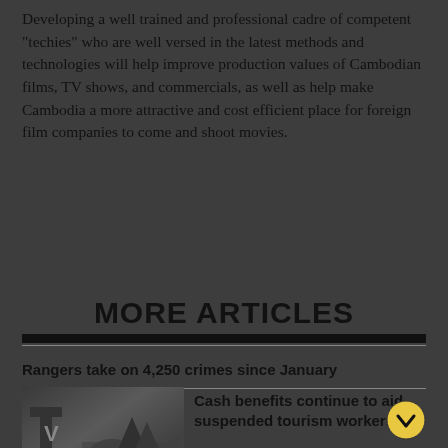Developing a well trained and professional cadre of competent "techies" who are well versed in the latest methods and technologies will help improve production values of Cambodian films, TV shows, and commercials, as well as help make Cambodia a more attractive and cost efficient place for foreign film companies to come and shoot movies.
MORE ARTICLES
Rangers take on 4,250 crimes since January
[Figure (photo): Dark outdoor photo showing a sign with letter V and people in background]
Cash benefits continue to aid suspended tourism workers
Phnom Tamao tree planting by bodyguards 96% complete